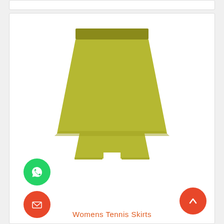[Figure (illustration): Illustration of a yellow-green/olive colored women's tennis skirt with a layered flared design and a darker waistband, shown against a white background card.]
[Figure (illustration): Green circular WhatsApp button icon with chat bubble and phone symbol.]
[Figure (illustration): Orange-red circular email/envelope button icon.]
[Figure (illustration): Orange-red circular scroll-to-top button with upward chevron arrow.]
Womens Tennis Skirts